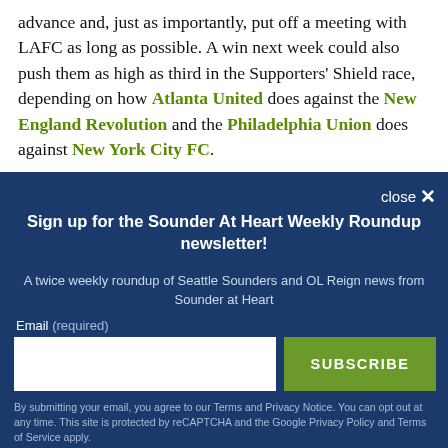advance and, just as importantly, put off a meeting with LAFC as long as possible. A win next week could also push them as high as third in the Supporters' Shield race, depending on how Atlanta United does against the New England Revolution and the Philadelphia Union does against New York City FC.
close ×
Sign up for the Sounder At Heart Weekly Roundup newsletter!
A twice weekly roundup of Seattle Sounders and OL Reign news from Sounder at Heart
Email (required)
SUBSCRIBE
By submitting your email, you agree to our Terms and Privacy Notice. You can opt out at any time. This site is protected by reCAPTCHA and the Google Privacy Policy and Terms of Service apply.